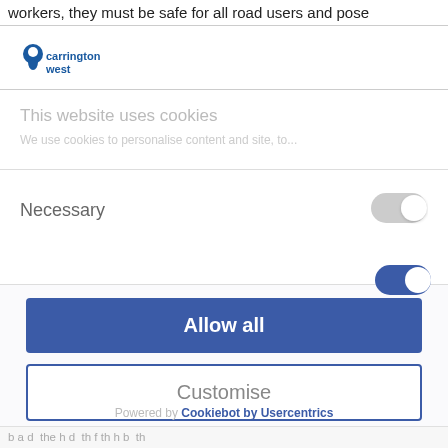workers, they must be safe for all road users and pose
[Figure (logo): Carrington West logo with blue text and blue map pin icon]
This website uses cookies
We use cookies to personalise content and ads, to...
Necessary
[Figure (other): Toggle switch in grey/off state]
[Figure (other): Blue toggle arc visible at bottom of section]
Allow all
Customise
Powered by Cookiebot by Usercentrics
b a d the h d th f th h b th